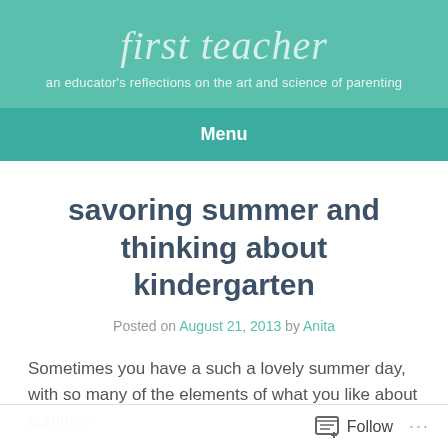first teacher
an educator's reflections on the art and science of parenting
Menu
savoring summer and thinking about kindergarten
Posted on August 21, 2013 by Anita
Sometimes you have a such a lovely summer day, with so many of the elements of what you like about summer